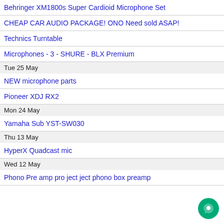Behringer XM1800s Super Cardioid Microphone Set
CHEAP CAR AUDIO PACKAGE! ONO Need sold ASAP!
Technics Turntable
Microphones - 3 - SHURE - BLX Premium
Tue 25 May
NEW microphone parts
Pioneer XDJ RX2
Mon 24 May
Yamaha Sub YST-SW030
Thu 13 May
HyperX Quadcast mic
Wed 12 May
Phono Pre amp pro ject ject phono box preamp